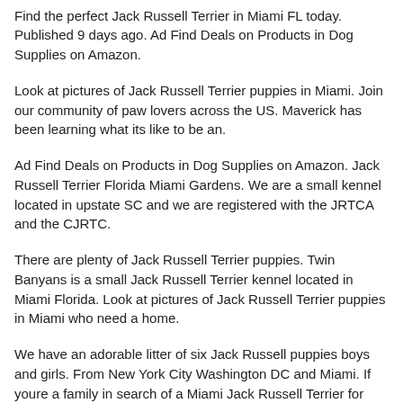tnt please. – Jack Russell Puppies Dogs For Sale Or Adoption In Your Area Miami FL.
Find the perfect Jack Russell Terrier in Miami FL today. Published 9 days ago. Ad Find Deals on Products in Dog Supplies on Amazon.
Look at pictures of Jack Russell Terrier puppies in Miami. Join our community of paw lovers across the US. Maverick has been learning what its like to be an.
Ad Find Deals on Products in Dog Supplies on Amazon. Jack Russell Terrier Florida Miami Gardens. We are a small kennel located in upstate SC and we are registered with the JRTCA and the CJRTC.
There are plenty of Jack Russell Terrier puppies. Twin Banyans is a small Jack Russell Terrier kennel located in Miami Florida. Look at pictures of Jack Russell Terrier puppies in Miami who need a home.
We have an adorable litter of six Jack Russell puppies boys and girls. From New York City Washington DC and Miami. If youre a family in search of a Miami Jack Russell Terrier for sale then youve come to the right place – because the Jack Russell.